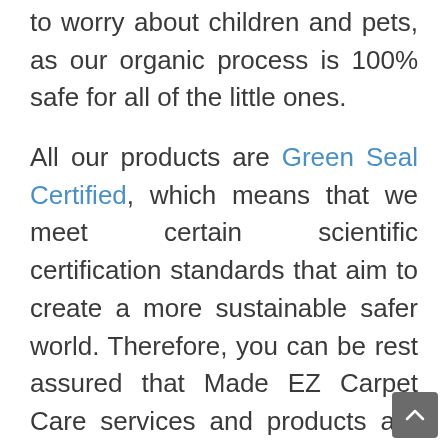to worry about children and pets, as our organic process is 100% safe for all of the little ones.
All our products are Green Seal Certified, which means that we meet certain scientific certification standards that aim to create a more sustainable safer world. Therefore, you can be rest assured that Made EZ Carpet Care services and products are the safest, and most effective on the market!
If spots and stains have left your carpets looking unsatisfactory, then